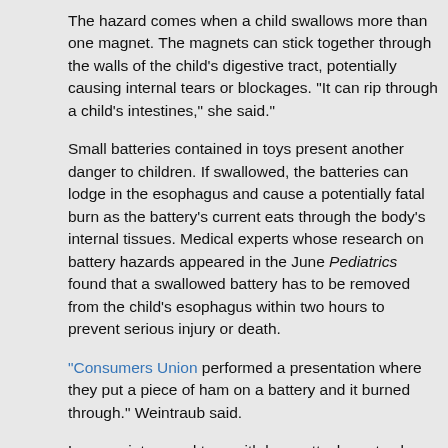The hazard comes when a child swallows more than one magnet. The magnets can stick together through the walls of the child's digestive tract, potentially causing internal tears or blockages. "It can rip through a child's intestines," she said."
Small batteries contained in toys present another danger to children. If swallowed, the batteries can lodge in the esophagus and cause a potentially fatal burn as the battery's current eats through the body's internal tissues. Medical experts whose research on battery hazards appeared in the June Pediatrics found that a swallowed battery has to be removed from the child's esophagus within two hours to prevent serious injury or death.
“Consumers Union performed a presentation where they put a piece of ham on a battery and it burned through.” Weintraub said.
Laser pointers and toys with laser attachments also present a risk. A 15-year-old Swiss boy playing with a laser pointer accidentally beamed the laser into his eyes, permanently damaging his vision, according to a letter published Sept. 9 in the New England Journal of Medicine.
Even video games have their problems. Too much play can create eyestrain, Kehoe said.